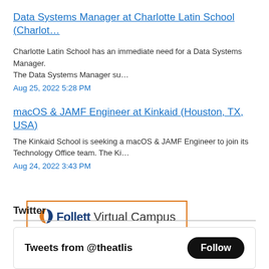Data Systems Manager at Charlotte Latin School (Charlot…
Charlotte Latin School has an immediate need for a Data Systems Manager. The Data Systems Manager su…
Aug 25, 2022 5:28 PM
macOS & JAMF Engineer at Kinkaid (Houston, TX, USA)
The Kinkaid School is seeking a macOS & JAMF Engineer to join its Technology Office team. The Ki…
Aug 24, 2022 3:42 PM
[Figure (logo): Follett Virtual Campus logo inside an orange-bordered rectangle]
Twitter
Tweets from @theatlis